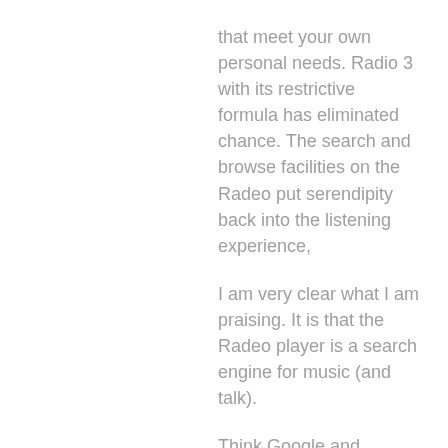that meet your own personal needs. Radio 3 with its restrictive formula has eliminated chance. The search and browse facilities on the Radeo put serendipity back into the listening experience,
I am very clear what I am praising. It is that the Radeo player is a search engine for music (and talk).
Think Google and websites, translate that to Radeo and internet stations.
Search engines revolutionised the web, applications like Radeo will revolutionise online radio.
The Controller of Radio 3, Roger Wright, thinks that he can still tell us what we are going to listen to, and how it will be presented.
The Radeo internet player empowers the listener. Now I can decide what I am going to listen to, and I can share my discoveries with friends and readers, and create communities of